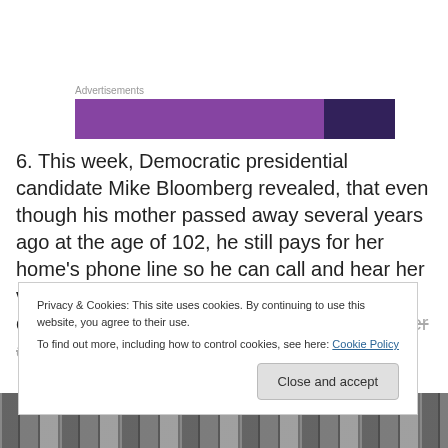[Figure (other): Advertisement banner with purple gradient bar (light purple and dark purple sections)]
6. This week, Democratic presidential candidate Mike Bloomberg revealed, that even though his mother passed away several years ago at the age of 102, he still pays for her home's phone line so he can call and hear her voice on the answering machine. He's also opened up a quaint bed and breakfast with her as well.
Privacy & Cookies: This site uses cookies. By continuing to use this website, you agree to their use.
To find out more, including how to control cookies, see here: Cookie Policy
[Figure (photo): Black and white street photograph at the bottom of the page]